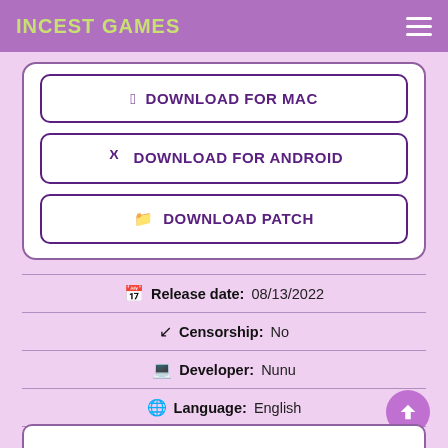INCEST GAMES
DOWNLOAD FOR MAC
DOWNLOAD FOR ANDROID
DOWNLOAD PATCH
Release date: 08/13/2022
Censorship: No
Developer: Nunu
Language: English
File Size: 260 MB [Win/Mac/Android]